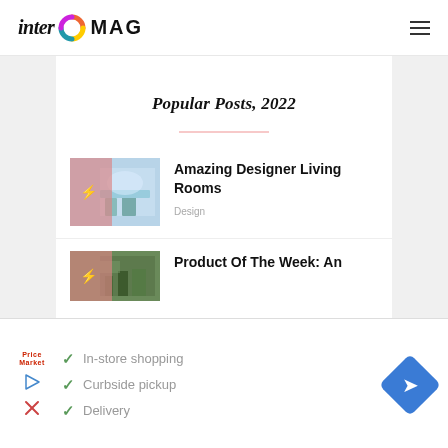inter MAG
Popular Posts, 2022
[Figure (photo): Thumbnail image of designer living room with pink overlay and bolt icon]
Amazing Designer Living Rooms
Design
[Figure (photo): Thumbnail image for Product Of The Week article with pink overlay and bolt icon]
Product Of The Week: An
[Figure (infographic): Advertisement banner: Price Master logo with checklist: In-store shopping, Curbside pickup, Delivery. Blue diamond navigation icon on right.]